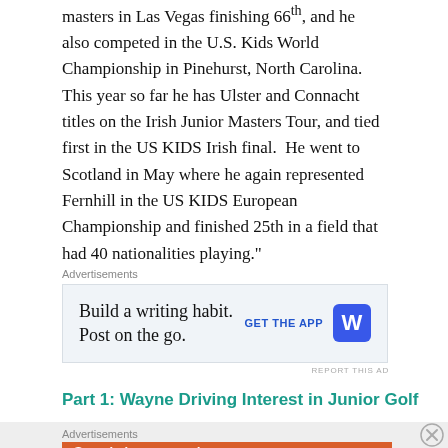masters in Las Vegas finishing 66th, and he also competed in the U.S. Kids World Championship in Pinehurst, North Carolina. This year so far he has Ulster and Connacht titles on the Irish Junior Masters Tour, and tied first in the US KIDS Irish final. He went to Scotland in May where he again represented Fernhill in the US KIDS European Championship and finished 25th in a field that had 40 nationalities playing."
[Figure (other): Advertisement banner for WordPress app: 'Build a writing habit. Post on the go.' with GET THE APP button and WordPress logo]
Part 1: Wayne Driving Interest in Junior Golf
[Figure (other): Advertisement banner for DuckDuckGo: 'Search, browse, and email with more privacy. All in One Free App' with phone mockup and DuckDuckGo logo on orange background]